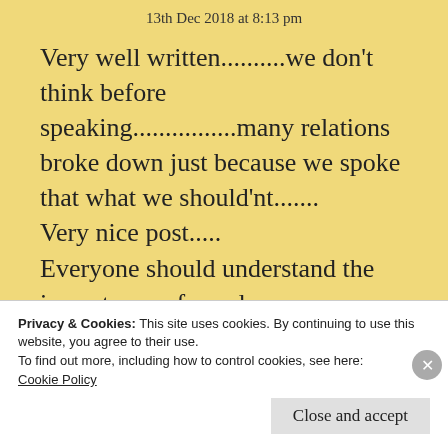13th Dec 2018 at 8:13 pm
Very well written..........we don't think before speaking................many relations broke down just because we spoke that what we should'nt.......
Very nice post.....
Everyone should understand the importance of words.....
Keep it up
Privacy & Cookies: This site uses cookies. By continuing to use this website, you agree to their use.
To find out more, including how to control cookies, see here: Cookie Policy
Close and accept